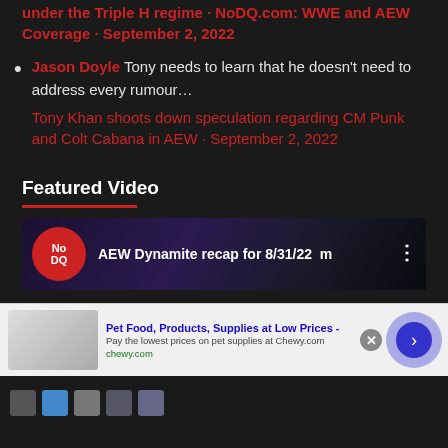under the Triple H regime · NoDQ.com: WWE and AEW Coverage · September 2, 2022
Jason Doyle Tony needs to learn that he doesn't need to address every rumour... Tony Khan shoots down speculation regarding CM Punk and Colt Cabana in AEW · September 2, 2022
Featured Video
[Figure (screenshot): Video thumbnail showing AEW Dynamite recap for 8/31/22 with NoDQ logo]
[Figure (screenshot): Advertisement banner for Chewy.com - Pet Food, Products, Supplies at Low Prices - Pay the lowest prices on pet supplies at Chewy.com]